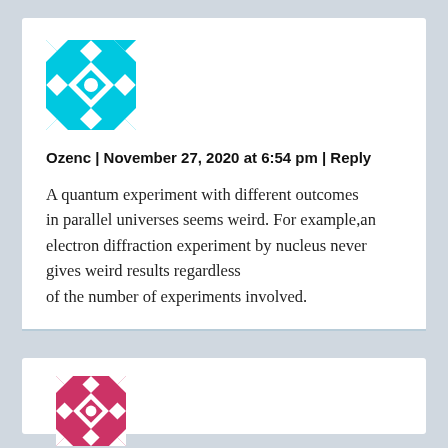[Figure (illustration): Cyan/turquoise geometric avatar icon with a symmetrical tile pattern]
Ozenc | November 27, 2020 at 6:54 pm | Reply
A quantum experiment with different outcomes in parallel universes seems weird. For example,an electron diffraction experiment by nucleus never gives weird results regardless of the number of experiments involved.
[Figure (illustration): Pink/red geometric avatar icon with a symmetrical tile pattern, partially visible at bottom]